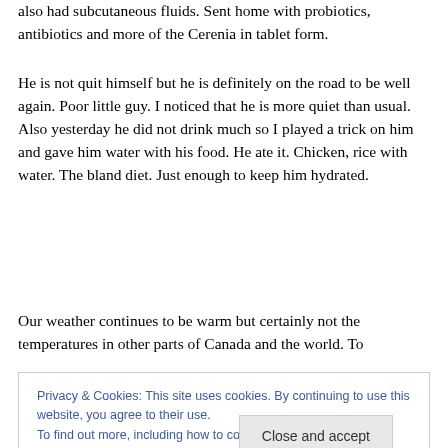also had subcutaneous fluids. Sent home with probiotics, antibiotics and more of the Cerenia in tablet form.
He is not quit himself but he is definitely on the road to be well again. Poor little guy. I noticed that he is more quiet than usual. Also yesterday he did not drink much so I played a trick on him and gave him water with his food. He ate it. Chicken, rice with water. The bland diet. Just enough to keep him hydrated.
Our weather continues to be warm but certainly not the temperatures in other parts of Canada and the world. To
Privacy & Cookies: This site uses cookies. By continuing to use this website, you agree to their use.
To find out more, including how to control cookies, see here: Cookie Policy